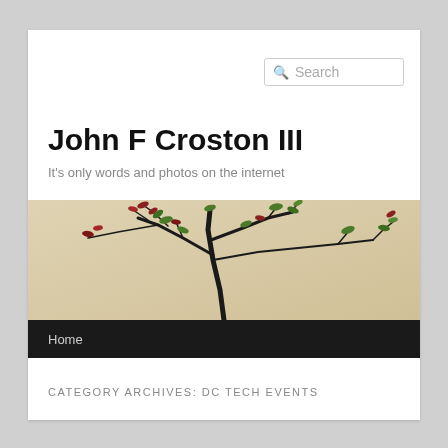[Figure (other): Search box with magnifying glass icon and 'Search' placeholder text]
John F Croston III
It's only words and photos on the internet
[Figure (photo): Bonsai tree with dark branches and small green and reddish leaves against a warm beige/cream background]
Home
CATEGORY ARCHIVES: DC TECH EVENTS